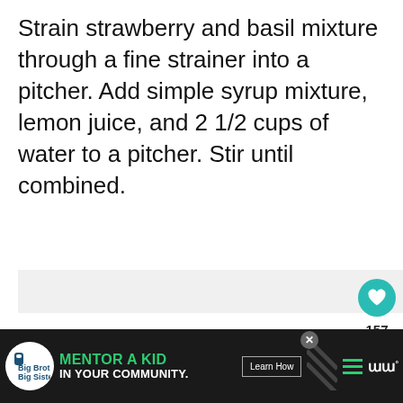Strain strawberry and basil mixture through a fine strainer into a pitcher. Add simple syrup mixture, lemon juice, and 2 1/2 cups of water to a pitcher. Stir until combined.
[Figure (photo): Large light gray image placeholder area (food photo, contents not visible), with a teal heart/like button showing 157 likes and a share button on the right side. A 'What's Next' panel shows a thumbnail of a cranberry dish with text 'Homemade Cranberry...']
[Figure (infographic): Bottom advertisement banner: Big Brothers Big Sisters logo, green text 'MENTOR A KID IN YOUR COMMUNITY.', 'Learn How' button, diagonal stripe pattern, hamburger menu icon, and stylized W° logo.]